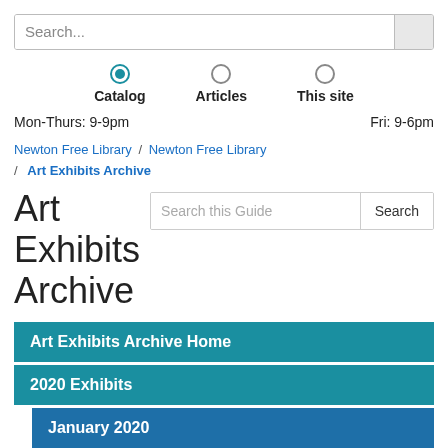[Figure (screenshot): Search box with placeholder text 'Search...' and a button on the right]
[Figure (other): Three radio button options: Catalog (selected, blue), Articles, This site]
Mon-Thurs: 9-9pm   Fri: 9-6pm
Newton Free Library / Newton Free Library / Art Exhibits Archive
Art Exhibits Archive
[Figure (screenshot): Search this Guide input box with Search button]
Art Exhibits Archive Home
2020 Exhibits
January 2020
February 2020